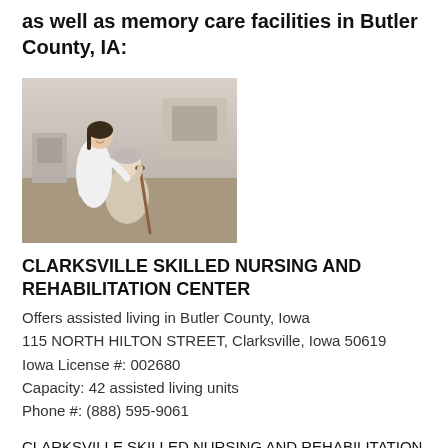as well as memory care facilities in Butler County, IA:
[Figure (photo): A caregiver in white uniform assisting an elderly woman holding a cane, in a home/care facility setting.]
CLARKSVILLE SKILLED NURSING AND REHABILITATION CENTER
Offers assisted living in Butler County, Iowa
115 NORTH HILTON STREET, Clarksville, Iowa 50619
Iowa License #: 002680
Capacity: 42 assisted living units
Phone #: (888) 595-9061
CLARKSVILLE SKILLED NURSING AND REHABILITATION